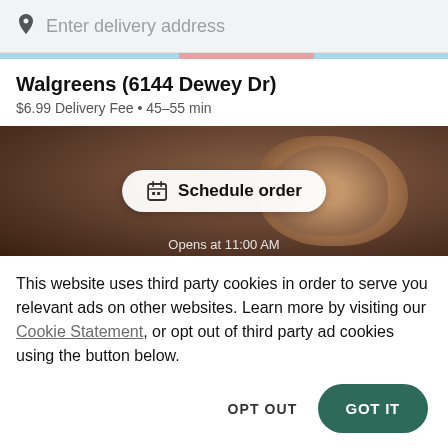Enter delivery address
Walgreens (6144 Dewey Dr)
$6.99 Delivery Fee • 45–55 min
[Figure (screenshot): Food image with a burrito/wrap, showing a 'Schedule order' button overlay and 'Opens at 11:00 AM' text at bottom]
This website uses third party cookies in order to serve you relevant ads on other websites. Learn more by visiting our Cookie Statement, or opt out of third party ad cookies using the button below.
OPT OUT
GOT IT